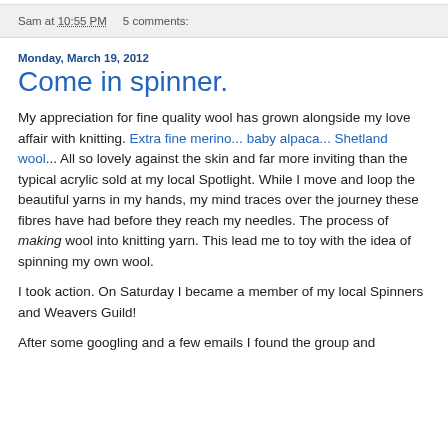Sam at 10:55 PM    5 comments:
Monday, March 19, 2012
Come in spinner.
My appreciation for fine quality wool has grown alongside my love affair with knitting. Extra fine merino... baby alpaca... Shetland wool... All so lovely against the skin and far more inviting than the typical acrylic sold at my local Spotlight. While I move and loop the beautiful yarns in my hands, my mind traces over the journey these fibres have had before they reach my needles. The process of making wool into knitting yarn. This lead me to toy with the idea of spinning my own wool.
I took action. On Saturday I became a member of my local Spinners and Weavers Guild!
After some googling and a few emails I found the group and